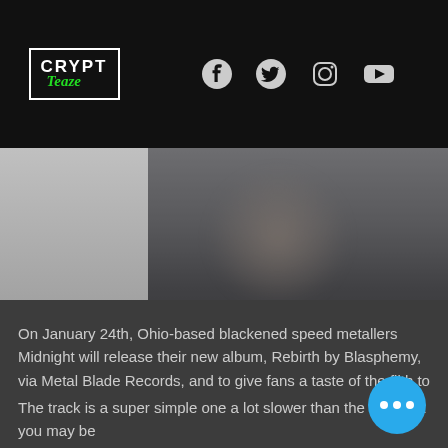[Figure (logo): CryptTeaze logo — white outlined box with CRYPT in bold white letters and Teaze in green italic script]
[Figure (infographic): Social media icons: Facebook, Twitter, Instagram, YouTube in light grey on black background]
[Figure (photo): Blurred dark photo of a person, background partially visible]
On January 24th, Ohio-based blackened speed metallers Midnight will release their new album, Rebirth by Blasphemy, via Metal Blade Records, and to give fans a taste of the filth to come, the band has debut a brand new track titled "Rising Scum," which can be heard below.
The track is a super simple one a lot slower than the Midnight you may be